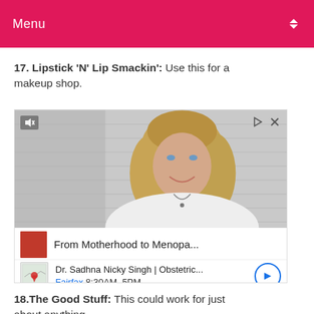Menu
17. Lipstick 'N' Lip Smackin': Use this for a makeup shop.
[Figure (photo): Advertisement showing a smiling blonde woman in a white top against a light gray background, with ad content for 'From Motherhood to Menopa...' by Dr. Sadhna Nicky Singh | Obstetric... Fairfax 8:30AM-5PM]
18.The Good Stuff: This could work for just about anything.
19. The Soapmaker: Perfectl...